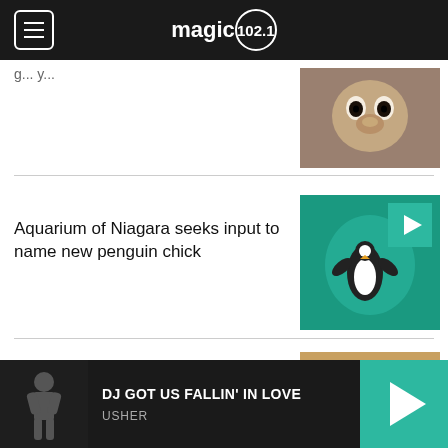magic 102.1
g...y...
[Figure (photo): Close-up photo of a small animal (monkey or similar) with big eyes]
Aquarium of Niagara seeks input to name new penguin chick
[Figure (photo): Underwater photo of a penguin swimming in green-tinted water, with teal play button overlay]
'Mission accomplished': Last of 4,000 beagles rescued from Virginia breeding facility
[Figure (photo): Photo of beagle puppies, with teal play button overlay]
DJ GOT US FALLIN' IN LOVE
USHER